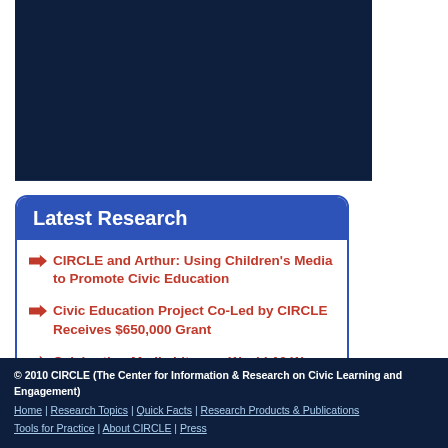[Figure (other): Dark navy blue banner/header image area]
Latest Research
CIRCLE and Arthur: Using Children's Media to Promote Civic Education
Civic Education Project Co-Led by CIRCLE Receives $650,000 Grant
Celebrating Media Literacy Week! 10 Ways Media Literacy Matters in 2020
© 2010 CIRCLE (The Center for Information & Research on Civic Learning and Engagement)
Home | Research Topics | Quick Facts | Research Products & Publications
Tools for Practice | About CIRCLE | Press